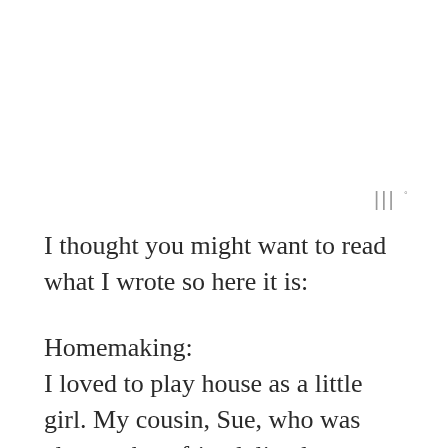[Figure (logo): Small decorative quotation mark / brand logo mark in gray]
I thought you might want to read what I wrote so here it is:
Homemaking:
I loved to play house as a little girl. My cousin, Sue, who was also my best friend, lived next door most of our growing up